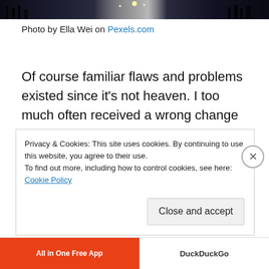[Figure (photo): Dark nighttime cityscape photo strip at the top of the page]
Photo by Ella Wei on Pexels.com
Of course familiar flaws and problems existed since it’s not heaven. I too much often received a wrong change when shopping. One shop clerk surprised me when he gave me a handful of change without counting. He saw my dubious face and added one more handful of coins. I was also
Privacy & Cookies: This site uses cookies. By continuing to use this website, you agree to their use.
To find out more, including how to control cookies, see here: Cookie Policy
Close and accept
[Figure (screenshot): Advertisement bar at the bottom with 'All in One Free App' in orange and 'DuckDuckGo' on the right]